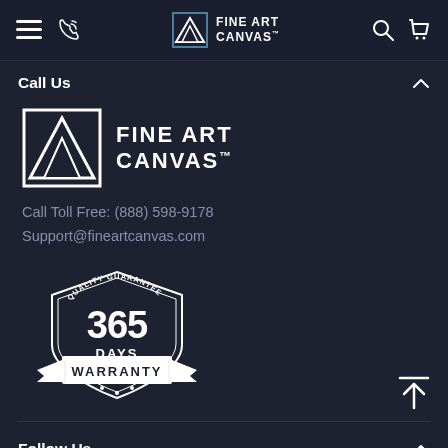Fine Art Canvas — navigation bar with hamburger menu, phone icon, logo, search, cart
Call Us
[Figure (logo): Fine Art Canvas logo — white triangle/mountain icon in square border with FINE ART CANVAS text]
Call Toll Free: (888) 598-9178
Support@fineartcanvas.com
[Figure (illustration): 365 Days Quality Guarantee Warranty badge — shield shape with banner reading WARRANTY]
Follow Us
[Figure (infographic): Social media icons: Facebook, Pinterest, Instagram, YouTube]
[Figure (other): Back to top arrow button]